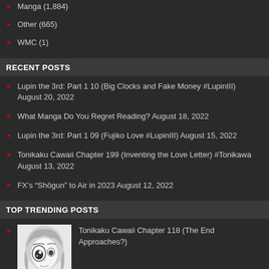Manga (1,884)
Other (665)
WMC (1)
RECENT POSTS
Lupin the 3rd: Part 1 10 (Big Clocks and Fake Money #LupinIII) August 20, 2022
What Manga Do You Regret Reading? August 18, 2022
Lupin the 3rd: Part 1 09 (Fujiko Love #LupinIII) August 15, 2022
Tonikaku Cawaii Chapter 199 (Inventing the Love Letter) #Tonikawa August 13, 2022
FX's “Shōgun” to Air in 2023 August 12, 2022
TOP TRENDING POSTS
Tonikaku Cawaii Chapter 118 (The End Approaches?)
[Figure (illustration): Manga-style illustration of a character with light hair and one large eye visible, black and white artwork]